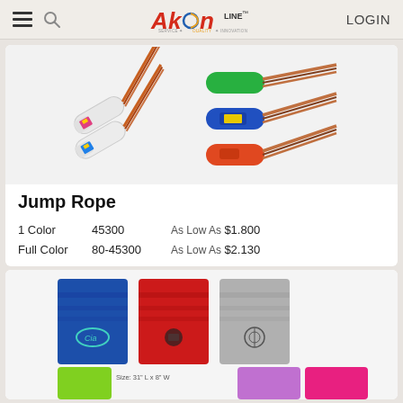Akron LINE — LOGIN
[Figure (photo): Jump ropes with colored handles: white handles with multicolor rope, green handles, blue handles, and orange/red handles with braided ropes]
Jump Rope
1 Color   45300   As Low As $1.800
Full Color   80-45300   As Low As $2.130
[Figure (photo): Colorful folded towels or bandanas in blue, red, grey, lime green, purple/lavender, and pink/hot pink colors with logos printed on them]